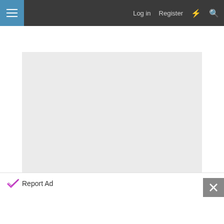[Figure (screenshot): Navigation bar with hamburger menu button (blue), Log in, Register links, lightning bolt icon, and search icon on dark gray background]
[Figure (screenshot): Gray advertisement placeholder area with Report Ad link at bottom]
[Figure (screenshot): Rich text editor toolbar with Bold, Italic, more options, link, image, more icons, undo, more, and preview button]
[Figure (screenshot): Bottom Report Ad bar with close X button on white background]